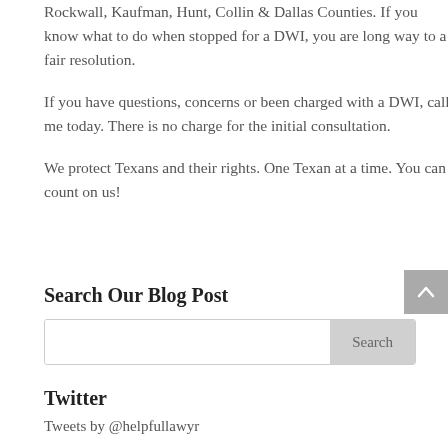Rockwall, Kaufman, Hunt, Collin & Dallas Counties.  If you know what to do when stopped for a DWI, you are long way to a fair resolution.
If you have questions, concerns or been charged with a DWI, call me today. There is no charge for the initial consultation.
We protect Texans and their rights. One Texan at a time.  You can count on us!
Search Our Blog Post
Twitter
Tweets by @helpfullawyr